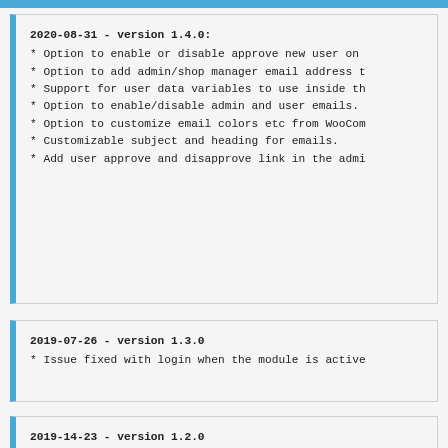2020-08-31 - version 1.4.0:
* Option to enable or disable approve new user on
* Option to add admin/shop manager email address t
* Support for user data variables to use inside th
* Option to enable/disable admin and user emails.
* Option to customize email colors etc from WooCom
* Customizable subject and heading for emails.
* Add user approve and disapprove link in the admi
2019-07-26 - version 1.3.0
* Issue fixed with login when the module is active
2019-14-23 - version 1.2.0
* Some typo errors fixed.